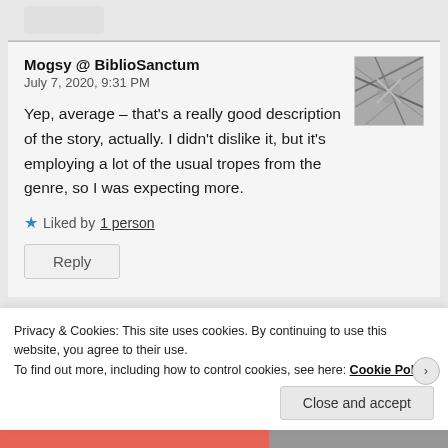Mogsy @ BiblioSanctum
July 7, 2020, 9:31 PM
Yep, average – that's a really good description of the story, actually. I didn't dislike it, but it's employing a lot of the usual tropes from the genre, so I was expecting more.
Liked by 1 person
Reply
Privacy & Cookies: This site uses cookies. By continuing to use this website, you agree to their use.
To find out more, including how to control cookies, see here: Cookie Policy
Close and accept